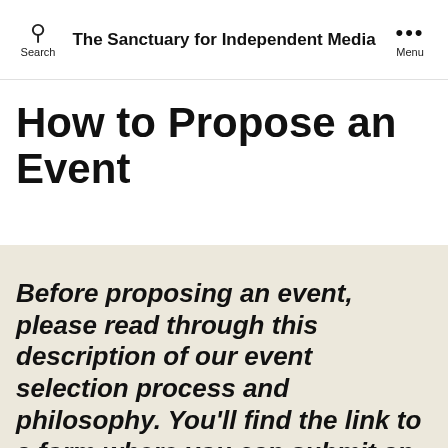Search | The Sanctuary for Independent Media | Menu
How to Propose an Event
Before proposing an event, please read through this description of our event selection process and philosophy. You'll find the link to a form where you can submit an